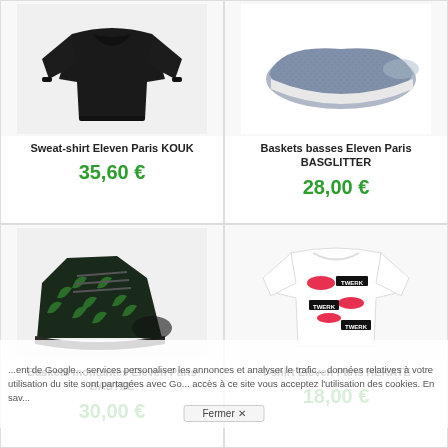[Figure (photo): Black sweatshirt product photo]
Sweat-shirt Eleven Paris KOUK
35,60 €
[Figure (photo): Grey knit sneakers product photo]
Baskets basses Eleven Paris BASGLITTER
28,00 €
[Figure (photo): Dark sneakers with green leaf pattern product photo]
Baskets montantes Eleven Paris BASTEE
30,00 €
[Figure (photo): White t-shirt with lip and TWERK print product photo]
T-shirt Eleven Paris HEKATE
18,00 €
...ent de Google... services personaliser les annonces et analyser le trafic... données relatives à votre utilisation du site sont partagées avec Go... accès à ce site vous acceptez l'utilisation des cookies. En sav...
Fermer ✕